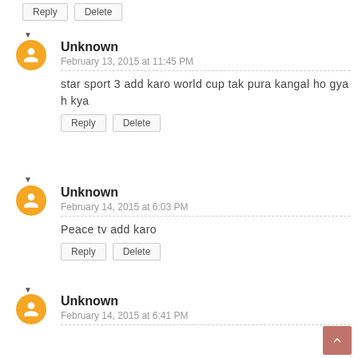Reply Delete (top buttons)
Unknown - February 13, 2015 at 11:45 PM - star sport 3 add karo world cup tak pura kangal ho gyah kya
Unknown - February 14, 2015 at 6:03 PM - Peace tv add karo
Unknown - February 14, 2015 at 6:41 PM - [Hindi/Urdu text]